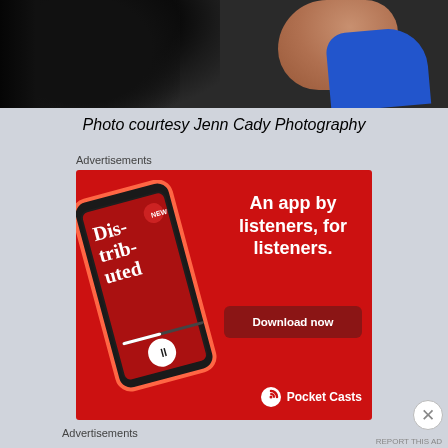[Figure (photo): Partial photo of a person with dark curly hair and blue top/clothing, cropped at top of page]
Photo courtesy Jenn Cady Photography
Advertisements
[Figure (advertisement): Pocket Casts app advertisement on red background. Shows smartphone with podcast app, text reading 'An app by listeners, for listeners.' with Download now button and Pocket Casts logo.]
Advertisements